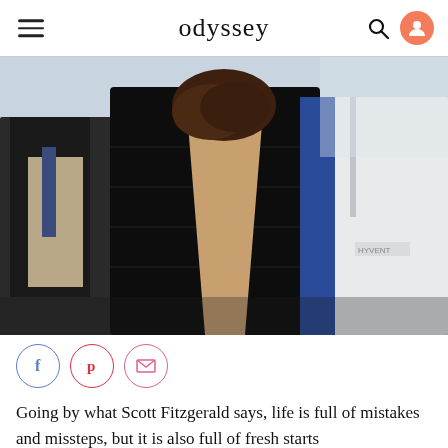odyssey
[Figure (photo): Group of people standing close together outdoors. Center person wearing an open black puffer jacket with brown hair bowed down, showing bare skin. Person on the right in a white athletic jacket with blue stripe. Person on left in dark coat.]
Going by what Scott Fitzgerald says, life is full of mistakes and missteps, but it is also full of fresh starts